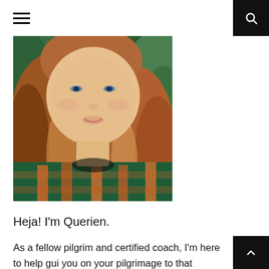Navigation header with hamburger menu and search button
[Figure (photo): Close-up portrait of a woman with long reddish-brown wavy hair, smiling, wearing a green and orange plaid shirt, with green foliage in the background.]
Heja! I'm Querien.
As a fellow pilgrim and certified coach, I'm here to help gui you on your pilgrimage to that sacred place within.